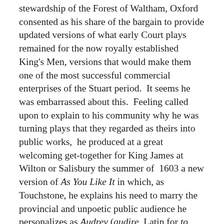stewardship of the Forest of Waltham, Oxford consented as his share of the bargain to provide updated versions of what early Court plays remained for the now royally established King's Men, versions that would make them one of the most successful commercial enterprises of the Stuart period.  It seems he was embarrassed about this.  Feeling called upon to explain to his community why he was turning plays that they regarded as theirs into public works,  he produced at a great welcoming get-together for King James at Wilton or Salisbury the summer of  1603 a new version of As You Like It in which, as Touchstone, he explains his need to marry the provincial and unpoetic public audience he personalizes as Audrey (audire, Latin for to listen).  A man must marry and a playwright must have an audience.
Of course many plays migrated across these boundaries and although not everyone could see a play at Court nor